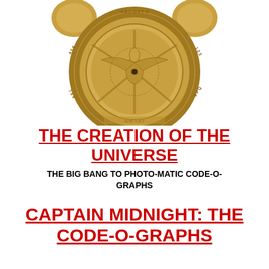[Figure (photo): A golden/brass circular decoder badge or medallion with intricate relief designs — a central figure with outstretched wings, surrounded by concentric rings of alphanumeric characters and decorative elements. The object has ear-like protrusions at the top sides. The background is white.]
THE CREATION OF THE UNIVERSE
THE BIG BANG TO PHOTO-MATIC CODE-O-GRAPHS
CAPTAIN MIDNIGHT: THE CODE-O-GRAPHS